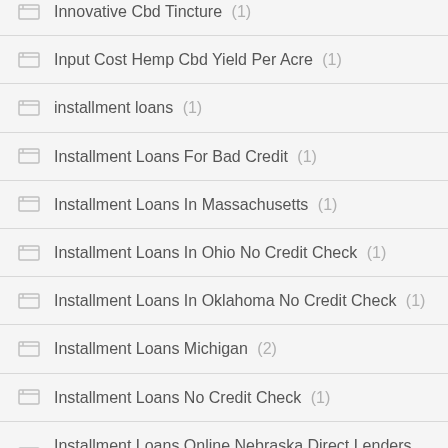Innovative Cbd Tincture (1)
Input Cost Hemp Cbd Yield Per Acre (1)
installment loans (1)
Installment Loans For Bad Credit (1)
Installment Loans In Massachusetts (1)
Installment Loans In Ohio No Credit Check (1)
Installment Loans In Oklahoma No Credit Check (1)
Installment Loans Michigan (2)
Installment Loans No Credit Check (1)
Installment Loans Online Nebraska Direct Lenders (1)